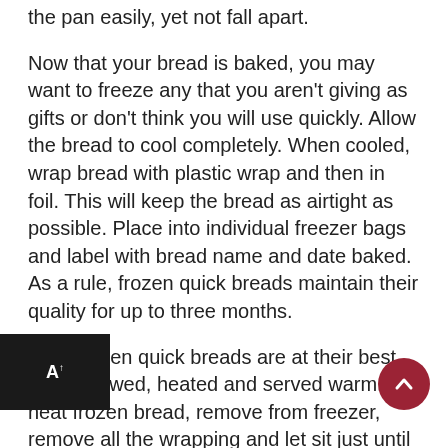the pan easily, yet not fall apart.
Now that your bread is baked, you may want to freeze any that you aren't giving as gifts or don't think you will use quickly. Allow the bread to cool completely. When cooled, wrap bread with plastic wrap and then in foil. This will keep the bread as airtight as possible. Place into individual freezer bags and label with bread name and date baked. As a rule, frozen quick breads maintain their quality for up to three months.
Most frozen quick breads are at their best when thawed, heated and served warm. To heat frozen bread, remove from freezer, remove all the wrapping and let sit just until thawed. Rewrap in foil and bake in a 350 degree oven for approximately 10 minutes. Serve immediately with warm butter or margarine.
For more information, contact me at the University of Arkansas Division of AG, Cooperative Extension Service,